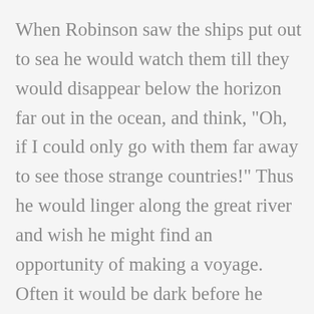When Robinson saw the ships put out to sea he would watch them till they would disappear below the horizon far out in the ocean, and think, "Oh, if I could only go with them far away to see those strange countries!" Thus he would linger along the great river and wish he might find an opportunity of making a voyage. Often it would be dark before he would get home. When he came into the house his mother would meet him and say in a gentle voice, "Why, Robinson, how late you are in getting home! You have been to the river again."